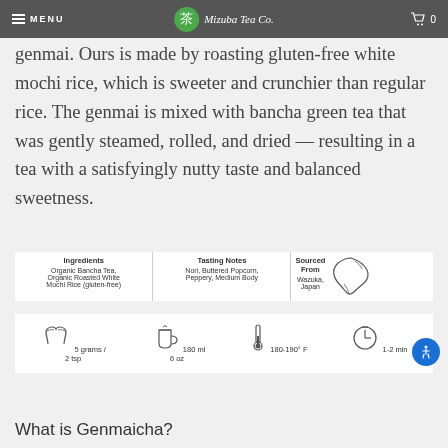MENU | Mizuba Tea Co. | 0
genmai. Ours is made by roasting gluten-free white mochi rice, which is sweeter and crunchier than regular rice. The genmai is mixed with bancha green tea that was gently steamed, rolled, and dried — resulting in a tea with a satisfyingly nutty taste and balanced sweetness.
| Ingredients | Tasting Notes | Sourced From |
| --- | --- | --- |
| Organic Bancha Tea, Organic Roasted White Mochi Rice (gluten-free) | Nori, Buttered Popcorn, Peppery, Medium Body | Wazuka, Japan |
[Figure (infographic): Brewing instructions: leaf icon for 5 grams / 2 tsp, teapot icon for 180 ml / 6 oz, thermometer icon for 180-190° F, clock icon for 1-2 min]
What is Genmaicha?